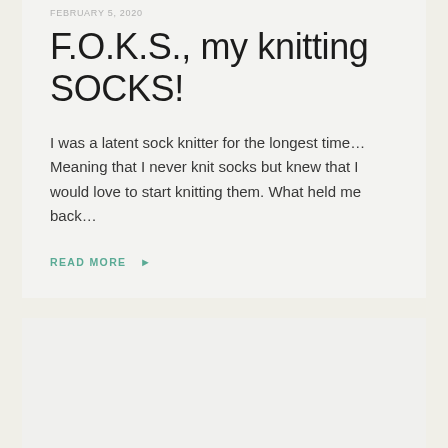FEBRUARY 5, 2020
F.O.K.S., my knitting SOCKS!
I was a latent sock knitter for the longest time… Meaning that I never knit socks but knew that I would love to start knitting them. What held me back…
READ MORE ▸